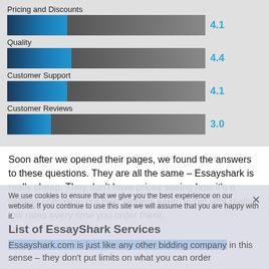[Figure (bar-chart): Ratings]
Soon after we opened their pages, we found the answers to these questions. They are all the same – Essayshark is really cheap. They don't have prices seeing how it's a bidding company, but their bidders seem to bid with really low rates every time you order there.
We use cookies to ensure that we give you the best experience on our website. If you continue to use this site we will assume that you are happy with it.
List of EssayShark Services
Essayshark.com is just like any other bidding company in this sense – they don't put limits on what you can order